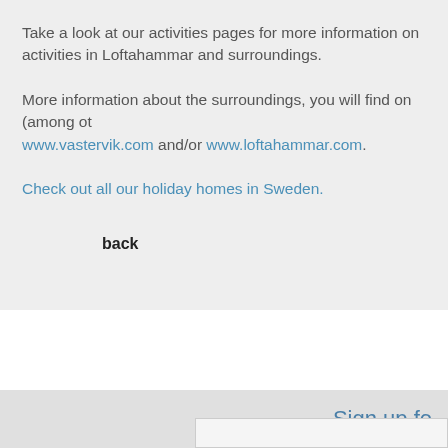Take a look at our activities pages for more information on activities in Loftahammar and surroundings.
More information about the surroundings, you will find on (among ot... www.vastervik.com and/or www.loftahammar.com.
Check out all our holiday homes in Sweden.
back
Sign up fo